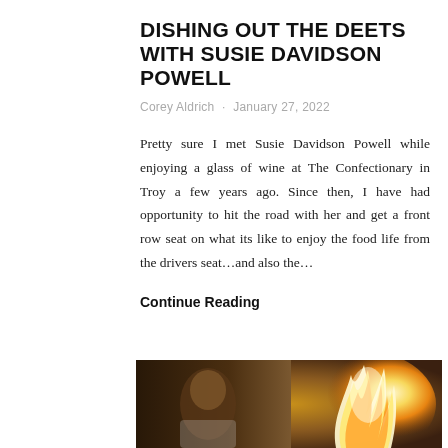DISHING OUT THE DEETS WITH SUSIE DAVIDSON POWELL
Corey Aldrich · January 27, 2022
Pretty sure I met Susie Davidson Powell while enjoying a glass of wine at The Confectionary in Troy a few years ago. Since then, I have had opportunity to hit the road with her and get a front row seat on what its like to enjoy the food life from the drivers seat...and also the...
Continue Reading
[Figure (photo): A chef in a white coat looking intensely at the camera with a large flame visible in the background, suggesting a professional kitchen environment.]